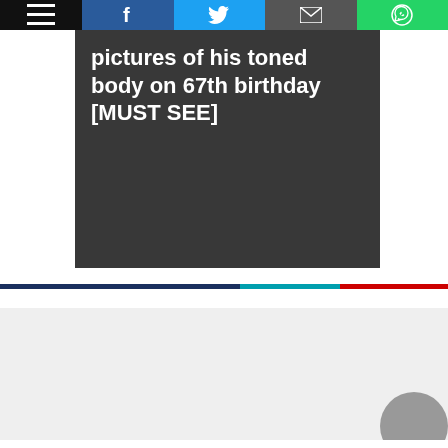Navigation bar with menu, Facebook, Twitter, email, and WhatsApp share buttons
pictures of his toned body on 67th birthday [MUST SEE]
[Figure (other): Tricolor horizontal stripe: navy, teal, red]
[Figure (other): Gray content placeholder area with partially visible circular avatar in bottom-right corner]